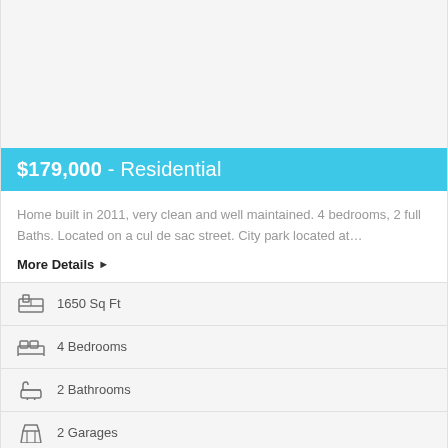[Figure (photo): Blank white/light gray photo placeholder area at top of listing card]
$179,000 - Residential
Home built in 2011, very clean and well maintained. 4 bedrooms, 2 full Baths. Located on a cul de sac street. City park located at…
More Details ▶
1650 Sq Ft
4 Bedrooms
2 Bathrooms
2 Garages